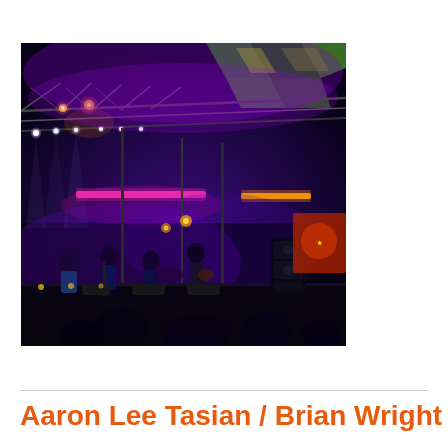[Figure (photo): Outdoor concert stage at night with colorful stage lighting — purple, green, yellow, and pink lights illuminating a metal truss rig above the stage. Several musicians are visible performing on stage in the background with a banner visible on the right side.]
Aaron Lee Tasian / Brian Wright /